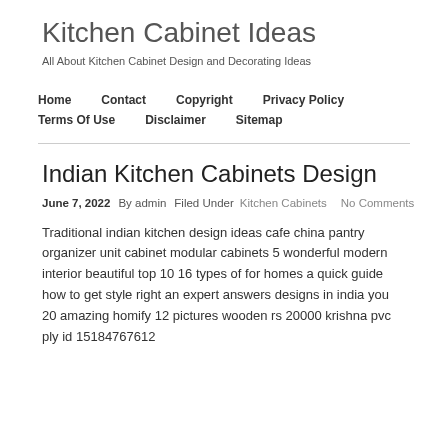Kitchen Cabinet Ideas
All About Kitchen Cabinet Design and Decorating Ideas
Home
Contact
Copyright
Privacy Policy
Terms Of Use
Disclaimer
Sitemap
Indian Kitchen Cabinets Design
June 7, 2022   By admin   Filed Under Kitchen Cabinets   No Comments
Traditional indian kitchen design ideas cafe china pantry organizer unit cabinet modular cabinets 5 wonderful modern interior beautiful top 10 16 types of for homes a quick guide how to get style right an expert answers designs in india you 20 amazing homify 12 pictures wooden rs 20000 krishna pvc ply id 15184767612